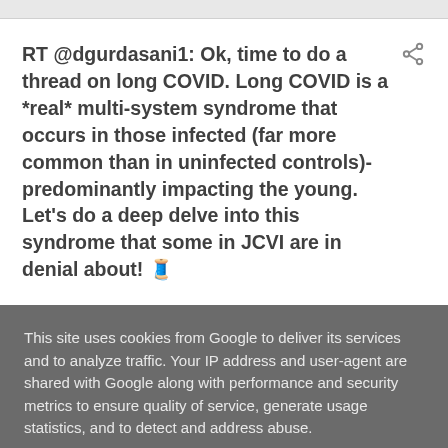RT @dgurdasani1: Ok, time to do a thread on long COVID. Long COVID is a *real* multi-system syndrome that occurs in those infected (far more common than in uninfected controls)- predominantly impacting the young. Let's do a deep delve into this syndrome that some in JCVI are in denial about! 🧵
This site uses cookies from Google to deliver its services and to analyze traffic. Your IP address and user-agent are shared with Google along with performance and security metrics to ensure quality of service, generate usage statistics, and to detect and address abuse.
LEARN MORE    OK